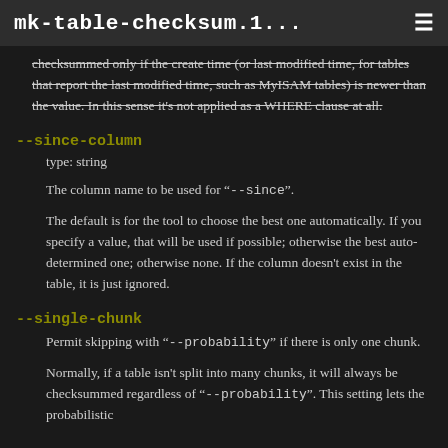mk-table-checksum.1...
checksummed only if the create time (or last modified time, for tables that report the last modified time, such as MyISAM tables) is newer than the value.  In this sense it's not applied as a WHERE clause at all.
--since-column
type: string
The column name to be used for "--since".
The default is for the tool to choose the best one automatically.  If you specify a value, that will be used if possible; otherwise the best auto-determined one; otherwise none.  If the column doesn't exist in the table, it is just ignored.
--single-chunk
Permit skipping with "--probability" if there is only one chunk.
Normally, if a table isn't split into many chunks, it will always be checksummed regardless of "--probability".  This setting lets the probabilistic